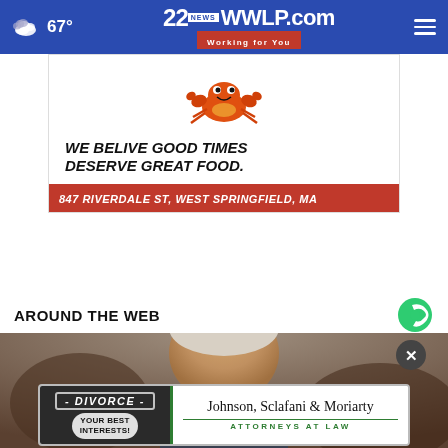67° | 22NEWS WWLP.com Working for You
[Figure (illustration): Restaurant advertisement with cartoon crab illustration, text 'WE BELIVE GOOD TIMES DESERVE GREAT FOOD.' and address '847 RIVERDALE ST, WEST SPRINGFIELD, MA']
AROUND THE WEB
[Figure (photo): Close-up photo of an elderly man, partially obscured, appearing to be a news article image]
[Figure (illustration): Advertisement overlay: DIVORCE YOUR BEST INTERESTS! Johnson, Sclafani & Moriarty Attorneys at Law]